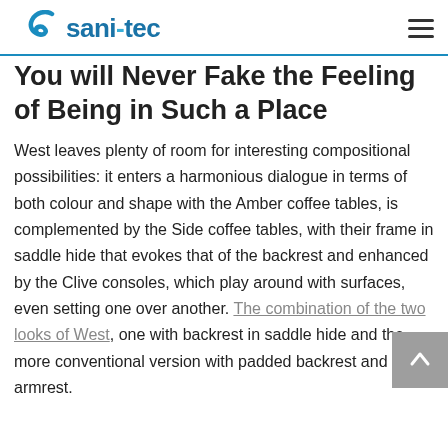sani-tec
You will Never Fake the Feeling of Being in Such a Place
West leaves plenty of room for interesting compositional possibilities: it enters a harmonious dialogue in terms of both colour and shape with the Amber coffee tables, is complemented by the Side coffee tables, with their frame in saddle hide that evokes that of the backrest and enhanced by the Clive consoles, which play around with surfaces, even setting one over another. The combination of the two looks of West, one with backrest in saddle hide and the more conventional version with padded backrest and armrest.